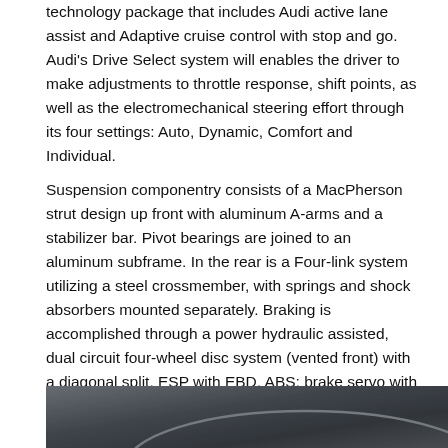technology package that includes Audi active lane assist and Adaptive cruise control with stop and go. Audi's Drive Select system will enables the driver to make adjustments to throttle response, shift points, as well as the electromechanical steering effort through its four settings: Auto, Dynamic, Comfort and Individual.
Suspension componentry consists of a MacPherson strut design up front with aluminum A-arms and a stabilizer bar. Pivot bearings are joined to an aluminum subframe. In the rear is a Four-link system utilizing a steel crossmember, with springs and shock absorbers mounted separately. Braking is accomplished through a power hydraulic assisted, dual circuit four-wheel disc system (vented front) with a diagonal split, ESP with EBD, ABS; brake servo with dual-rate function, and electronic differential lock.
[Figure (photo): Partial view of a dark-colored car, showing the roofline and rear section against a white background.]